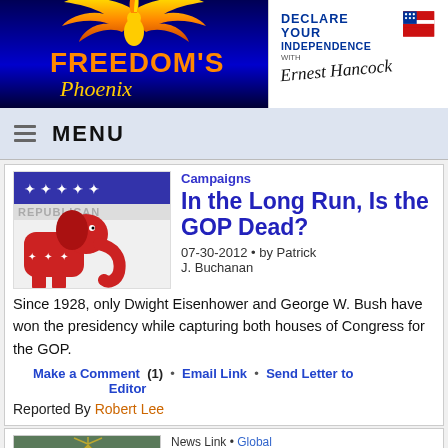[Figure (logo): Freedom's Phoenix logo — golden phoenix bird above orange/yellow text on dark blue background]
[Figure (logo): Declare Your Independence with Ernest Hancock — blue text logo with flag icon and signature]
MENU
Campaigns
In the Long Run, Is the GOP Dead?
07-30-2012 • by Patrick J. Buchanan
Since 1928, only Dwight Eisenhower and George W. Bush have won the presidency while capturing both houses of Congress for the GOP.
Make a Comment  (1)  •  Email Link  •  Send Letter to Editor
Reported By Robert Lee
News Link • Global
Politics: Republican